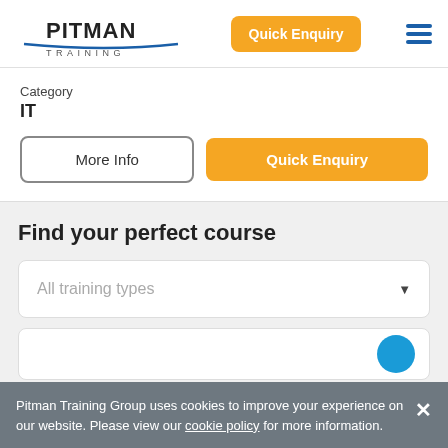[Figure (logo): Pitman Training logo with blue underline and 'TRAINING' text below]
Quick Enquiry
Category
IT
More Info
Quick Enquiry
Find your perfect course
All training types
Pitman Training Group uses cookies to improve your experience on our website. Please view our cookie policy for more information.